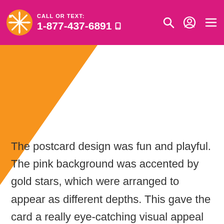CALL OR TEXT: 1-877-437-6891
[Figure (illustration): Orange decorative triangle shape in the upper-left area below the header, against a white background.]
The postcard design was fun and playful. The pink background was accented by gold stars, which were arranged to appear as different depths. This gave the card a really eye-catching visual appeal and got their customers attention. They also added two